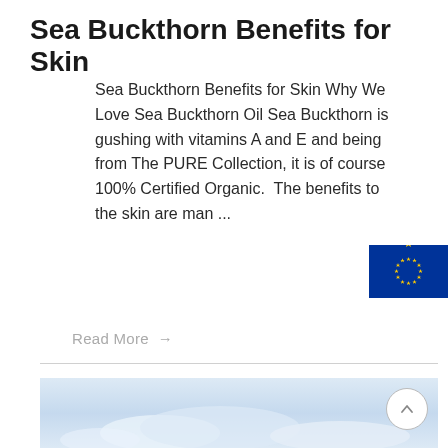Sea Buckthorn Benefits for Skin
Sea Buckthorn Benefits for Skin Why We Love Sea Buckthorn Oil Sea Buckthorn is gushing with vitamins A and E and being from The PURE Collection, it is of course 100% Certified Organic.  The benefits to the skin are man ...
[Figure (photo): EU flag with blue background and circular yellow stars, partially visible on the right side]
Read More →
[Figure (photo): Sky and clouds image at the bottom of the page]